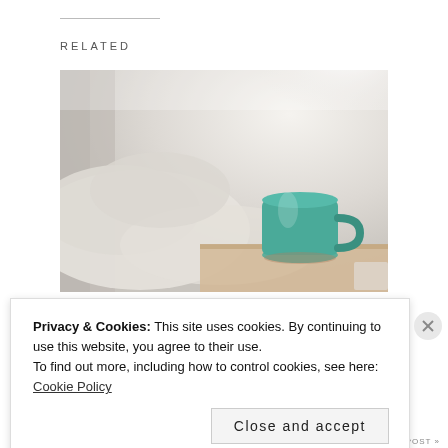RELATED
[Figure (photo): A teal/green coffee mug sitting on a light wooden surface next to crumpled white bedding or pillows, with soft natural light in the background.]
The Detox Diaries, Five Minute Friday
Privacy & Cookies: This site uses cookies. By continuing to use this website, you agree to their use.
To find out more, including how to control cookies, see here: Cookie Policy
Close and accept